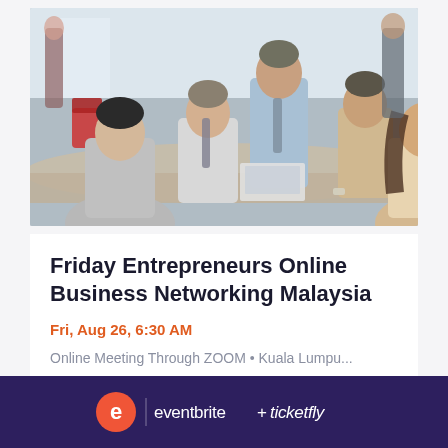[Figure (photo): Business meeting photo showing several professionals seated around a conference table with a laptop, in an office setting with natural light.]
Friday Entrepreneurs Online Business Networking Malaysia
Fri, Aug 26, 6:30 AM
Online Meeting Through ZOOM • Kuala Lumpu...
Free
eventbrite + ticketfly